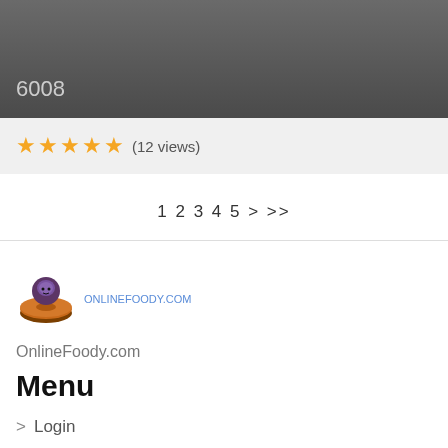6008
★★★★★ (12 views)
1 2 3 4 5 > >>
[Figure (logo): OnlineFoody.com logo: cartoon character on a donut with text onlinefoody.com]
OnlineFoody.com
Menu
> Login